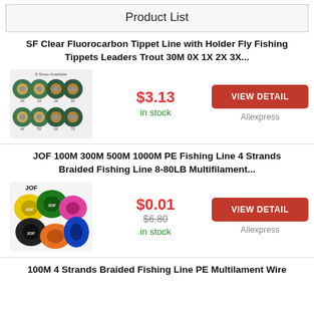Product List
SF Clear Fluorocarbon Tippet Line with Holder Fly Fishing Tippets Leaders Trout 30M 0X 1X 2X 3X...
[Figure (photo): 8 spools of fluorocarbon tippet line in various sizes, arranged in two rows on a white background.]
$3.13 in stock
VIEW DETAIL Aliexpress
JOF 100M 300M 500M 1000M PE Fishing Line 4 Strands Braided Fishing Line 8-80LB Multifilament...
[Figure (photo): Multiple colorful spools of braided fishing line (JOF brand) in yellow, green, pink, black, blue, and multicolor.]
$0.01 $6.80 in stock
VIEW DETAIL Aliexpress
100M 4 Strands Braided Fishing Line PE Multilament Wire